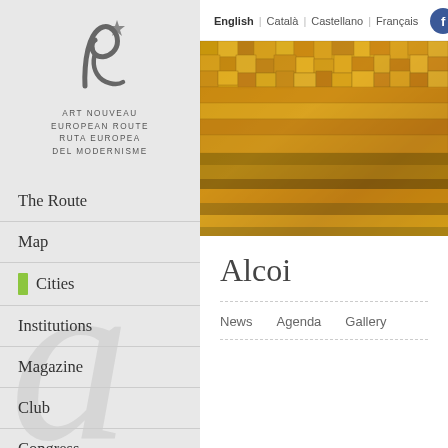[Figure (logo): Art Nouveau European Route logo — stylized letter A with a star, with text ART NOUVEAU EUROPEAN ROUTE / RUTA EUROPEA DEL MODERNISME]
The Route
Map
Cities
Institutions
Magazine
Club
Congress
English | Català | Castellano | Français
[Figure (photo): Close-up photo of golden/amber mosaic or tiled ceiling architectural detail with geometric patterns]
Alcoi
News    Agenda    Gallery